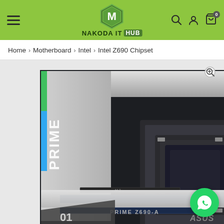NAKODA IT Hub navigation header with logo, hamburger menu, search, account, and cart icons
Home > Motherboard > Intel > Intel Z690 Chipset
[Figure (photo): ASUS PRIME Z690-A motherboard product photo showing the full board with CPU socket, RAM slots, M.2 slots, PCIe slots, heatsinks with white/silver finish and RGB lighting strip on left side]